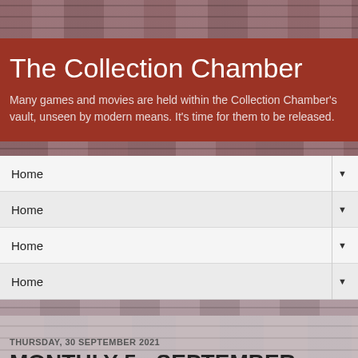The Collection Chamber
Many games and movies are held within the Collection Chamber's vault, unseen by modern means. It's time for them to be released.
Home
Home
Home
Home
THURSDAY, 30 SEPTEMBER 2021
MONTHLY 5 - SEPTEMBER 2021